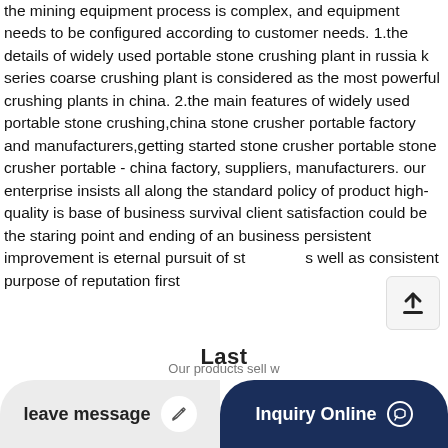the mining equipment process is complex, and equipment needs to be configured according to customer needs. 1.the details of widely used portable stone crushing plant in russia k series coarse crushing plant is considered as the most powerful crushing plants in china. 2.the main features of widely used portable stone crushing,china stone crusher portable factory and manufacturers,getting started stone crusher portable stone crusher portable - china factory, suppliers, manufacturers. our enterprise insists all along the standard policy of product high-quality is base of business survival client satisfaction could be the staring point and ending of an business persistent improvement is eternal pursuit of st... as well as consistent purpose of reputation first
Last...
Our products sell w...